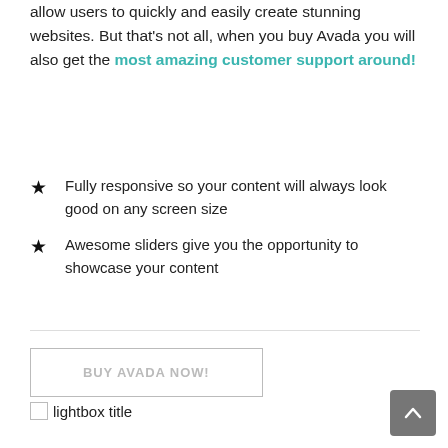allow users to quickly and easily create stunning websites. But that's not all, when you buy Avada you will also get the most amazing customer support around!
Fully responsive so your content will always look good on any screen size
Awesome sliders give you the opportunity to showcase your content
BUY AVADA NOW!
[Figure (other): Broken image icon labeled 'lightbox title']
[Figure (other): Gray scroll-to-top button with up arrow chevron]